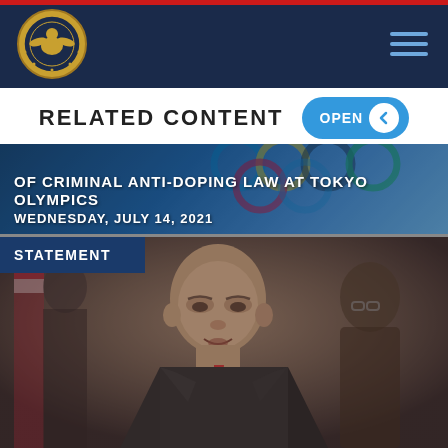Commission on Security and Cooperation in Europe
RELATED CONTENT
OF CRIMINAL ANTI-DOPING LAW AT TOKYO OLYMPICS
WEDNESDAY, JULY 14, 2021
STATEMENT
[Figure (photo): Photo of a bald man in a suit speaking at a meeting, with an American flag in the background and another man in a suit visible to the right.]